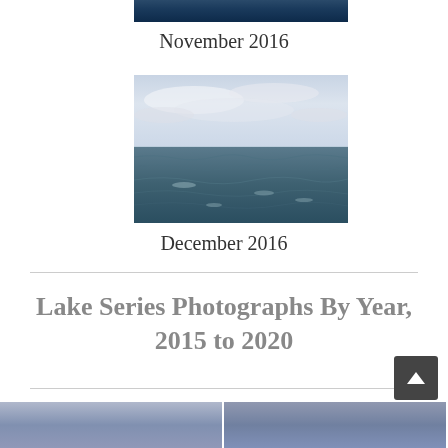[Figure (photo): Partial view of a dark lake/ocean photograph at top (cropped), showing dark blue water]
November 2016
[Figure (photo): Photograph of a lake or ocean scene with choppy water and overcast cloudy sky, muted blue-gray tones]
December 2016
Lake Series Photographs By Year, 2015 to 2020
[Figure (photo): Two partially visible lake photographs at the bottom of the page, showing blue-gray water and sky tones]